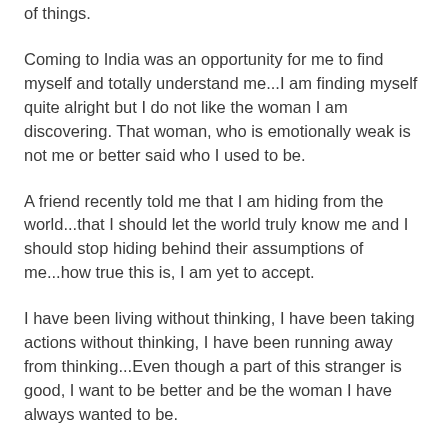of things.
Coming to India was an opportunity for me to find myself and totally understand me...I am finding myself quite alright but I do not like the woman I am discovering. That woman, who is emotionally weak is not me or better said who I used to be.
A friend recently told me that I am hiding from the world...that I should let the world truly know me and I should stop hiding behind their assumptions of me...how true this is, I am yet to accept.
I have been living without thinking, I have been taking actions without thinking, I have been running away from thinking...Even though a part of this stranger is good, I want to be better and be the woman I have always wanted to be.
Not that super woman, but that strong independent woman who can balance every aspect of her life and accept every flaws she has...
I am as lost as the uncoordinated post...I hope I find my way back...